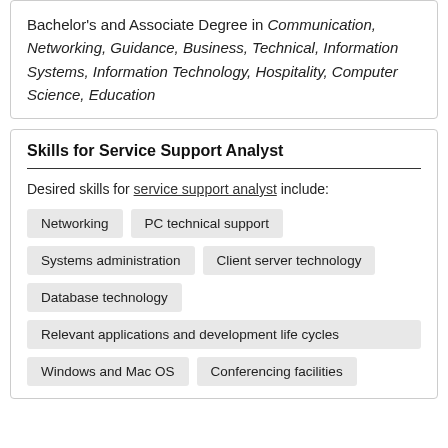Bachelor's and Associate Degree in Communication, Networking, Guidance, Business, Technical, Information Systems, Information Technology, Hospitality, Computer Science, Education
Skills for Service Support Analyst
Desired skills for service support analyst include:
Networking
PC technical support
Systems administration
Client server technology
Database technology
Relevant applications and development life cycles
Windows and Mac OS
Conferencing facilities